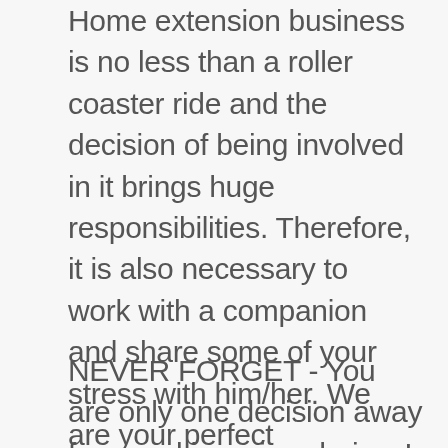Home extension business is no less than a roller coaster ride and the decision of being involved in it brings huge responsibilities. Therefore, it is also necessary to work with a companion and share some of your stress with him/her. We are your perfect companion who can help you implement your ideas just the way you want! We believe that what actually makes a good building contractor are qualities like - vision, optimism, innovation, smooth communication, flexibility, and empathy.
NEVER FORGET - You are only one decision away from making wise choices!